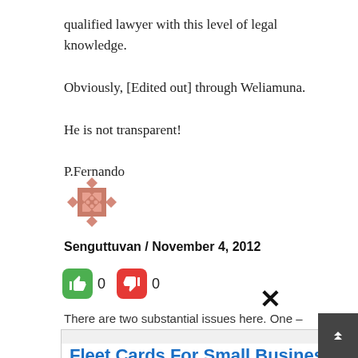qualified lawyer with this level of legal knowledge.
Obviously, [Edited out] through Weliamuna.
He is not transparent!
P.Fernando
[Figure (illustration): Decorative avatar/user icon with a salmon/pink geometric diamond pattern design]
Senguttuvan / November 4, 2012
0  0 (thumbs up and thumbs down vote buttons)
There are two substantial issues here. One –
[Figure (screenshot): Advertisement overlay: Fleet Cards For Small Business - Yahoo Search ad with Open button]